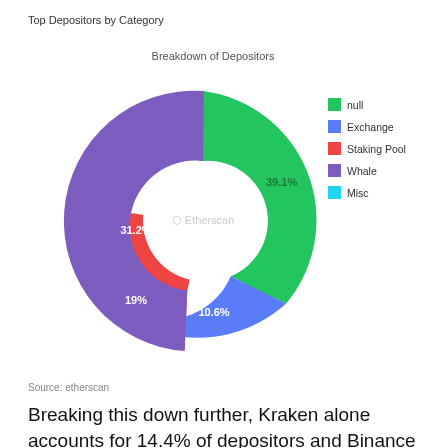Top Depositors by Category
[Figure (donut-chart): Breakdown of Depositors]
Source: etherscan
Breaking this down further, Kraken alone accounts for 14.4% of depositors and Binance represents 10.7% of